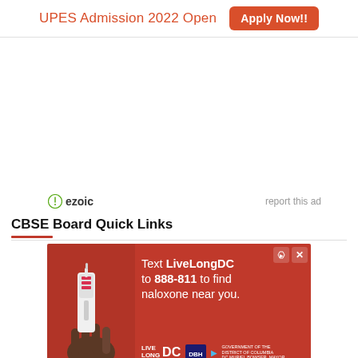UPES Admission 2022 Open   Apply Now!!
[Figure (other): Empty white ad space placeholder]
ezoic   report this ad
CBSE Board Quick Links
[Figure (other): Advertisement banner: Text LiveLongDC to 888-811 to find naloxone near you. Live Long DC DBH DC Government Muriel Bowser Mayor. Shows a hand holding a nasal spray device.]